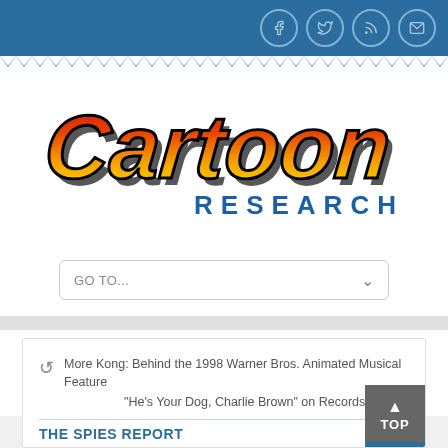Cartoon Research - navigation bar with social icons
[Figure (logo): Cartoon Research logo with stylized script lettering in red-orange-yellow gradient with black outline, and 'RESEARCH' in blue block letters below]
GO TO...
More Kong: Behind the 1998 Warner Bros. Animated Musical Feature
"He's Your Dog, Charlie Brown" on Records
THE SPIES REPORT